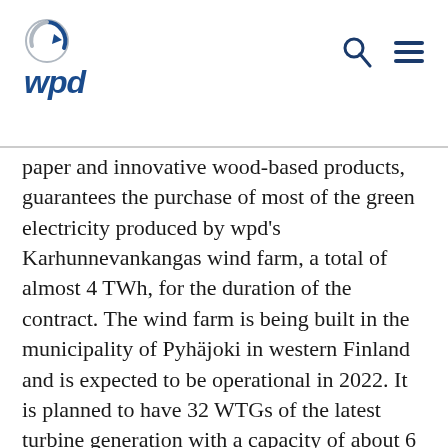wpd
paper and innovative wood-based products, guarantees the purchase of most of the green electricity produced by wpd's Karhunnevankangas wind farm, a total of almost 4 TWh, for the duration of the contract. The wind farm is being built in the municipality of Pyhäjoki in western Finland and is expected to be operational in 2022. It is planned to have 32 WTGs of the latest turbine generation with a capacity of about 6 MW each.
“It is a great success for our team in Finland that we have been able to partner with a sustainable company like UPM,” says Heikki Peltomaa of wpd Finland. “UPM’s long-term commitment provides a